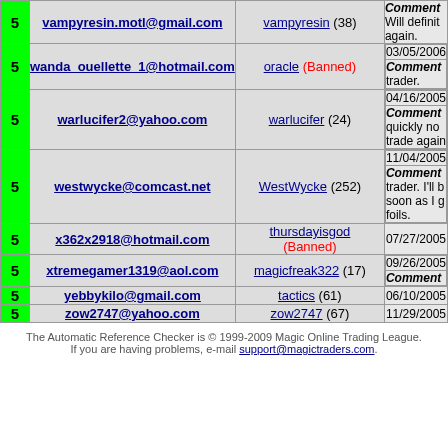| Score | Email | Trader | Info |
| --- | --- | --- | --- |
| 5 | vampyresin.motl@gmail.com | vampyresin (38) | Comment: Will definit again. |
| 5 | wanda_ouellette_1@hotmail.com | oracle (Banned) | 03/05/2006 | Comment: trader. |
| 5 | warlucifer2@yahoo.com | warlucifer (24) | 04/16/2005 | Comment: quickly no trade again |
| 5 | westwycke@comcast.net | WestWycke (252) | 11/04/2005 | Comment: trader. I'll b soon as I g foils. |
| 5 | x362x2918@hotmail.com | thursdayisgod (Banned) | 07/27/2005 |
| 5 | xtremegamer1319@aol.com | magicfreak322 (17) | 09/26/2005 | Comment: |
| 5 | yebbykilo@gmail.com | tactics (61) | 06/10/2005 |
| 5 | zow2747@yahoo.com | zow2747 (67) | 11/29/2005 |
The Automatic Reference Checker is © 1999-2009 Magic Online Trading League. If you are having problems, e-mail support@magictraders.com.